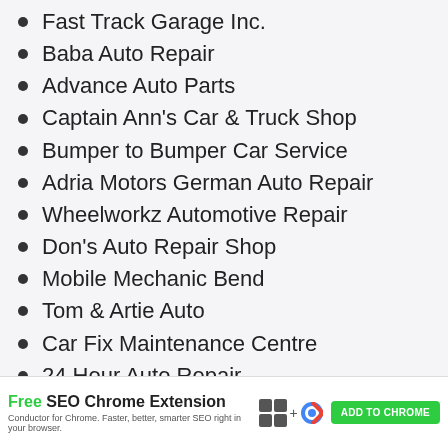Fast Track Garage Inc.
Baba Auto Repair
Advance Auto Parts
Captain Ann's Car & Truck Shop
Bumper to Bumper Car Service
Adria Motors German Auto Repair
Wheelworkz Automotive Repair
Don's Auto Repair Shop
Mobile Mechanic Bend
Tom & Artie Auto
Car Fix Maintenance Centre
24 Hour Auto Repair
Elite Car Care
[Figure (screenshot): Advertisement banner for Free SEO Chrome Extension by Conductor. Shows green ADD TO CHROME button and extension icons.]